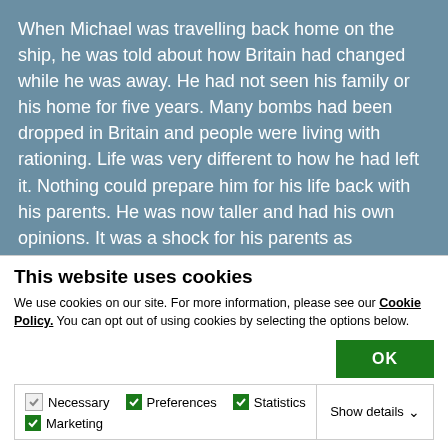When Michael was travelling back home on the ship, he was told about how Britain had changed while he was away. He had not seen his family or his home for five years. Many bombs had been dropped in Britain and people were living with rationing. Life was very different to how he had left it. Nothing could prepare him for his life back with his parents. He was now taller and had his own opinions. It was a shock for his parents as
This website uses cookies
We use cookies on our site. For more information, please see our Cookie Policy. You can opt out of using cookies by selecting the options below.
OK
Necessary  Preferences  Statistics  Marketing  Show details